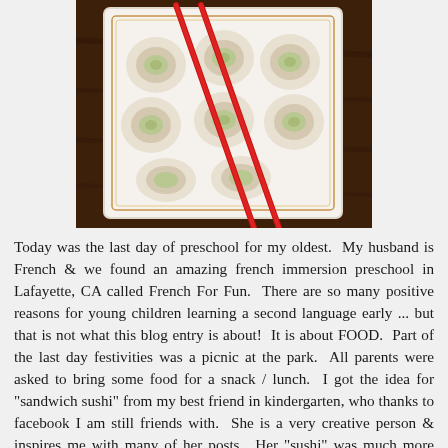[Figure (photo): A white square plate with sandwich sushi rolls (pinwheel sandwiches rolled and cut like sushi) arranged on it, with two red chopsticks laid across the plate diagonally, on a dark brown wooden surface.]
Today was the last day of preschool for my oldest.  My husband is French & we found an amazing french immersion preschool in Lafayette, CA called French For Fun.  There are so many positive reasons for young children learning a second language early ... but that is not what this blog entry is about!  It is about FOOD.  Part of the last day festivities was a picnic at the park.  All parents were asked to bring some food for a snack / lunch.  I got the idea for "sandwich sushi" from my best friend in kindergarten, who thanks to facebook I am still friends with.  She is a very creative person & inspires me with many of her posts.  Her "sushi" was much more creative I think ... even using Swedish fish |